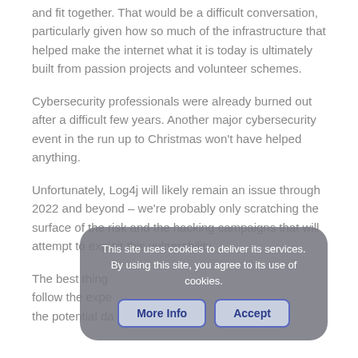and fit together. That would be a difficult conversation, particularly given how so much of the infrastructure that helped make the internet what it is today is ultimately built from passion projects and volunteer schemes.
Cybersecurity professionals were already burned out after a difficult few years. Another major cybersecurity event in the run up to Christmas won't have helped anything.
Unfortunately, Log4j will likely remain an issue through 2022 and beyond – we're probably only scratching the surface of the risk and the hacking campaigns that will attempt to exploit this vulnerability.
The best thing … follow the expe… the potential da…
This site uses cookies to deliver its services. By using this site, you agree to its use of cookies.